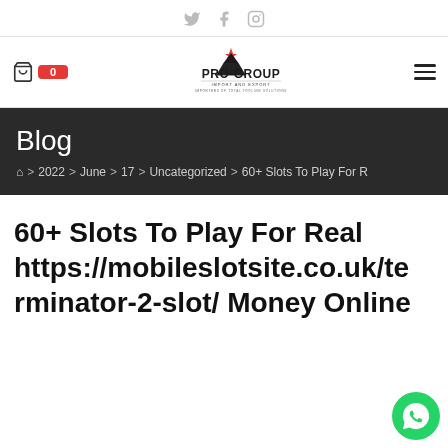Social icons: Twitter, Facebook, Instagram
[Figure (logo): Pro-Group Import and Export logo with red star/arrow mark and text 'PRO-GROUP IMPORT AND EXPORT - IMPORTERS OF TOTAL TOOLING SOLUTIONS']
Blog
Home > 2022 > June > 17 > Uncategorized > 60+ Slots To Play For R
60+ Slots To Play For Real https://mobileslotsite.co.uk/terminator-2-slot/ Money Online